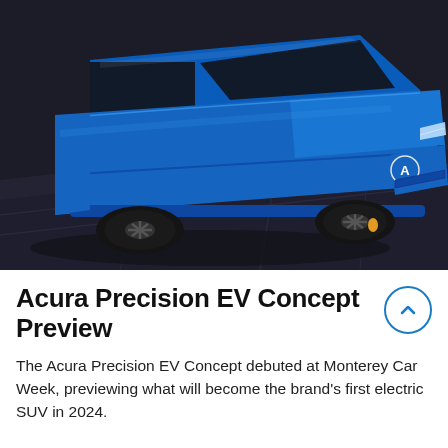[Figure (photo): A vivid blue Acura Precision EV Concept SUV shot from a high front-three-quarter angle on a dark concrete surface. The car has a sleek, futuristic design with large dark wheels, slim LED headlights, and the Acura logo on the front grille.]
Acura Precision EV Concept Preview
The Acura Precision EV Concept debuted at Monterey Car Week, previewing what will become the brand's first electric SUV in 2024.